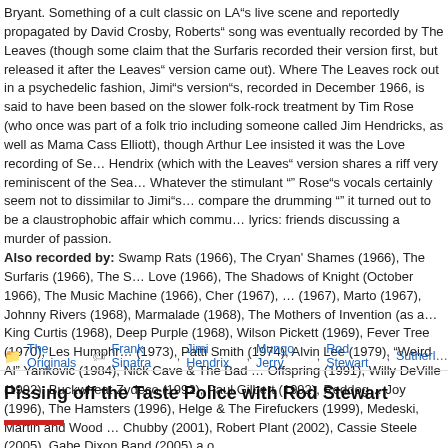Bryant. Something of a cult classic on LA"s live scene and reportedly propagated by David Crosby, Roberts" song was eventually recorded by The Leaves (though some claim that the Surfaris recorded their version first, but released it after the Leaves" version came out). Where The Leaves rock out in a psychedelic fashion, Jimi"s version"s, recorded in December 1966, is said to have been based on the slower folk-rock treatment by Tim Rose (who once was part of a folk trio including someone called Jim Hendricks, as well as Mama Cass Elliott), though Arthur Lee insisted it was the Love recording of Se... Hendrix (which with the Leaves" version shares a riff very reminiscent of the Sea... Whatever the stimulant "" Rose"s vocals certainly seem not to dissimilar to Jimi"s... compare the drumming "" it turned out to be a claustrophobic affair which commu... lyrics: friends discussing a murder of passion. Also recorded by: Swamp Rats (1966), The Cryan' Shames (1966), The Surfaris (1966), The S... Love (1966), The Shadows of Knight (October 1966), The Music Machine (1966), Cher (1967), ... (1967), Marto (1967), Johnny Rivers (1968), Marmalade (1968), The Mothers of Invention (as a... King Curtis (1968), Deep Purple (1968), Wilson Pickett (1969), Fever Tree (1970), Les Humphr... (1973), Patti Smith (1974), Alvin Lee (1979), "Weird Al" Yankovic (1984), Nick Cave & The Bad ... Offspring (1991), Willy DeVille (1992), Buckwheat Zydeco (1992), Paul Gilbert (1992), Reddog... Joy (1996), The Hamsters (1996), Helge & The Firefuckers (1999), Medeski, Martin and Wood ... Chubby (2001), Robert Plant (2002), Cassie Steele (2005), Gabe Dixon Band (2005) a.o. Best version: Gotta be Jimi Hendrix"s
The Originals   Frank Sinatra, Jimi Hendrix, Mungo Jerry, Rod Stewart, Sutherl...
Pissing off the Taste Police with Rod Stewart